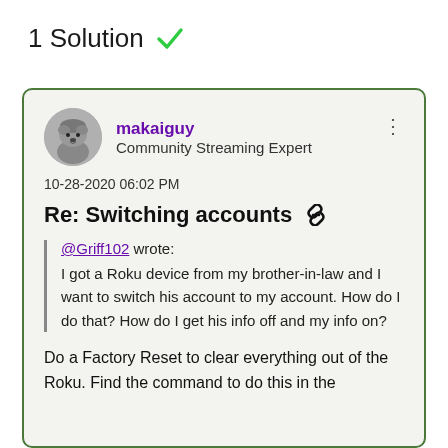1 Solution ✓
Re: Switching accounts
makaiguy
Community Streaming Expert
10-28-2020 06:02 PM
@Griff102 wrote:
I got a Roku device from my brother-in-law and I want to switch his account to my account. How do I do that? How do I get his info off and my info on?
Do a Factory Reset to clear everything out of the Roku. Find the command to do this in the Settings. System...